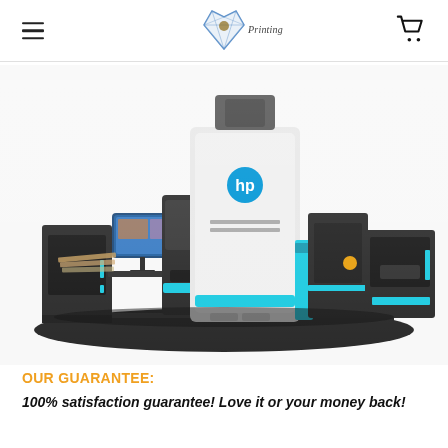Diamond Printing Pro — navigation header with logo and cart icon
[Figure (photo): HP Indigo large-format digital printing press system with connected modules, a monitor workstation on the left, and output/finishing units on the right, shown on a dark platform.]
OUR GUARANTEE:
100% satisfaction guarantee! Love it or your money back!